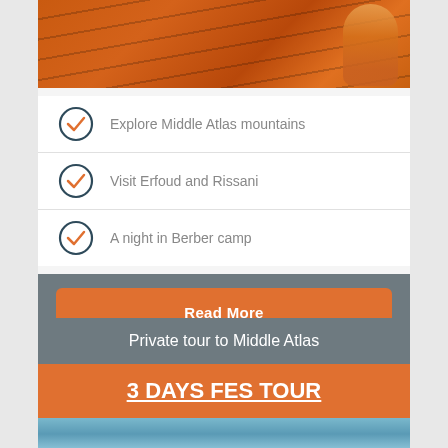[Figure (photo): Orange desert landscape with shadows from tent ropes and a figure in traditional clothing on the right side]
Explore Middle Atlas mountains
Visit Erfoud and Rissani
A night in Berber camp
Read More
Private tour to Middle Atlas
3 DAYS FES TOUR
[Figure (photo): Blue sky with clouds — bottom of card image]